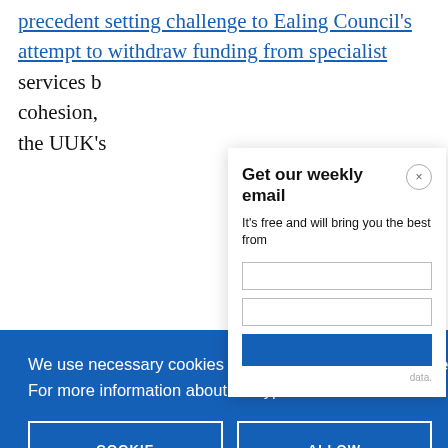precedent setting challenge to Ealing Council's attempt to withdraw funding from specialist services b... cohesion,... the UUK's...
[Figure (screenshot): Email modal popup with title 'Get our weekly email' and close button (×). Contains text 'It's free and will bring you the best from' and two input fields, a submit button, and data note.]
[Figure (screenshot): Cookie consent banner overlay in blue (#1560b7). Text: 'We use necessary cookies that allow our site to work. We also set optional cookies that help us improve our website. For more information about the types of cookies we use. READ OUR COOKIES POLICY HERE'. Two buttons: 'COOKIE SETTINGS' and 'ALLOW ALL COOKIES'.]
the impo